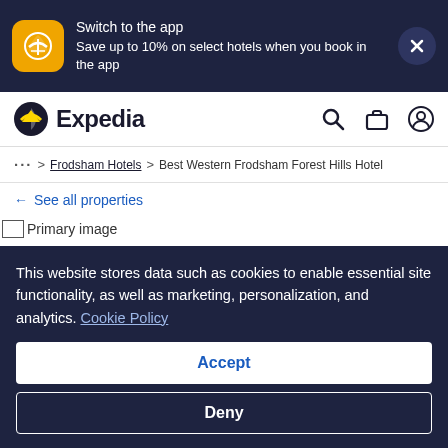Switch to the app
Save up to 10% on select hotels when you book in the app
[Figure (logo): Expedia logo with airplane icon]
... > Frodsham Hotels > Best Western Frodsham Forest Hills Hotel
← See all properties
[Figure (photo): Primary image placeholder]
This website stores data such as cookies to enable essential site functionality, as well as marketing, personalization, and analytics. Cookie Policy
Accept
Deny